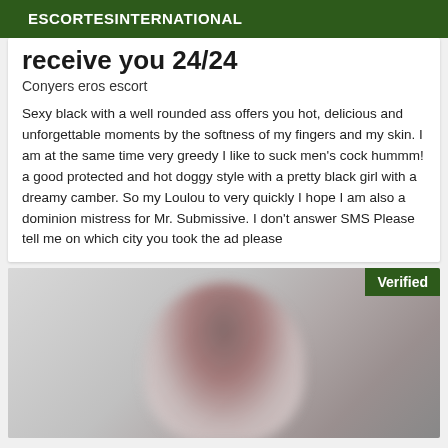ESCORTESINTERNATIONAL
receive you 24/24
Conyers eros escort
Sexy black with a well rounded ass offers you hot, delicious and unforgettable moments by the softness of my fingers and my skin. I am at the same time very greedy I like to suck men's cock hummm! a good protected and hot doggy style with a pretty black girl with a dreamy camber. So my Loulou to very quickly I hope I am also a dominion mistress for Mr. Submissive. I don't answer SMS Please tell me on which city you took the ad please
[Figure (photo): Blurred photo of a woman with dark hair, with a green 'Verified' badge in the top-right corner]